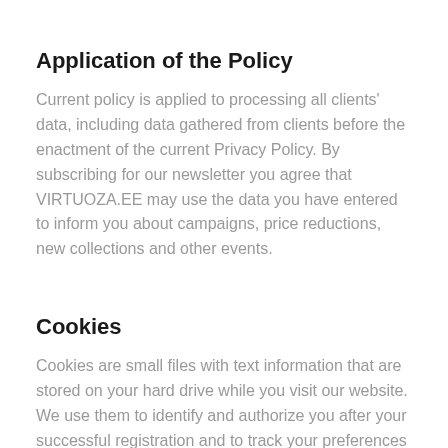Application of the Policy
Current policy is applied to processing all clients' data, including data gathered from clients before the enactment of the current Privacy Policy. By subscribing for our newsletter you agree that VIRTUOZA.EE may use the data you have entered to inform you about campaigns, price reductions, new collections and other events.
Cookies
Cookies are small files with text information that are stored on your hard drive while you visit our website. We use them to identify and authorize you after your successful registration and to track your preferences while you use our